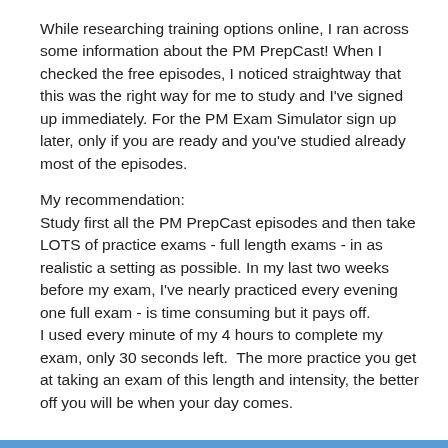While researching training options online, I ran across some information about the PM PrepCast! When I checked the free episodes, I noticed straightway that this was the right way for me to study and I've signed up immediately. For the PM Exam Simulator sign up later, only if you are ready and you've studied already most of the episodes.
My recommendation: Study first all the PM PrepCast episodes and then take LOTS of practice exams - full length exams - in as realistic a setting as possible. In my last two weeks before my exam, I've nearly practiced every evening one full exam - is time consuming but it pays off. I used every minute of my 4 hours to complete my exam, only 30 seconds left.  The more practice you get at taking an exam of this length and intensity, the better off you will be when your day comes.